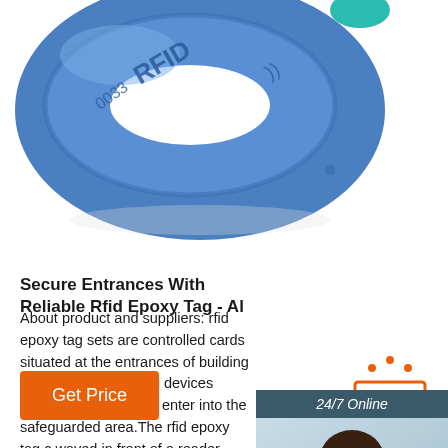[Figure (photo): Blue RFID silicone wristband/epoxy tag with RFID text and signal waves, close-up product photo on white background]
[Figure (infographic): 24/7 Online chat widget with dark teal background, female customer service agent with headset, 'Click here for free chat!' text, and orange QUOTATION button]
Secure Entrances With Reliable Rfid Epoxy Tag - Al
About product and suppliers: rfid epoxy tag sets are controlled cards situated at the entrances of buildings security.rfid epoxy tag devices enable only authorize enter into the safeguarded area.The rfid epoxy tag c waved in front of a reader, which then verifies the in allowing access. . They have a particular chip installed in them ...
[Figure (other): Orange 'Get Price' button]
[Figure (other): Orange 'TOP' back-to-top button with dots above]